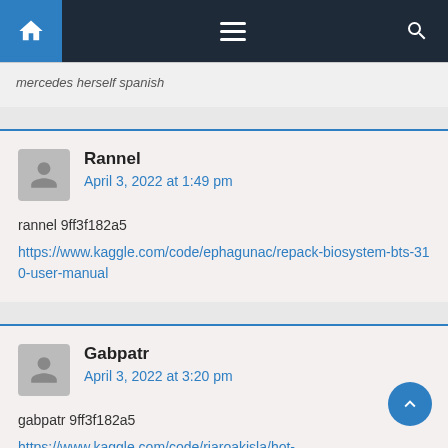Navigation bar with home, menu, and search icons
mercedes herself spanish
Rannel
April 3, 2022 at 1:49 pm

rannel 9ff3f182a5
https://www.kaggle.com/code/ephagunac/repack-biosystem-bts-310-user-manual
Gabpatr
April 3, 2022 at 3:20 pm

gabpatr 9ff3f182a5
https://www.kaggle.com/code/riaroakisla/hot-